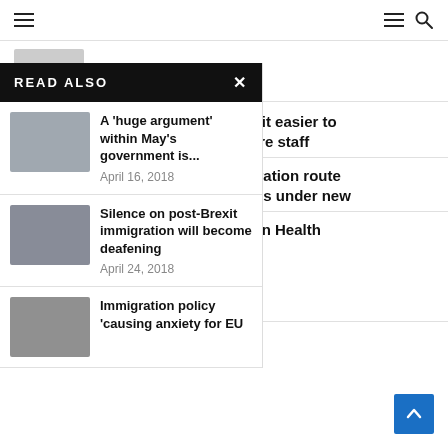Navigation bar with hamburger menu and search icons
May 24, 2021
READ ALSO
A 'huge argument' within May's government is...
April 16, 2018
Silence on post-Brexit immigration will become deafening
April 24, 2018
Immigration policy 'causing anxiety for EU
es to make it easier to hlth and care staff
-style immigration route young Indians under new
be included in Health
022